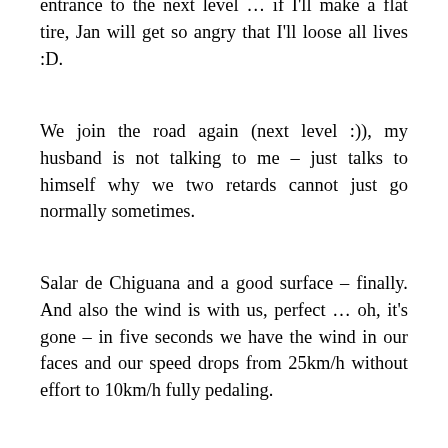entrance to the next level … if I'll make a flat tire, Jan will get so angry that I'll loose all lives :D.
We join the road again (next level :)), my husband is not talking to me – just talks to himself why we two retards cannot just go normally sometimes.
Salar de Chiguana and a good surface – finally. And also the wind is with us, perfect … oh, it's gone – in five seconds we have the wind in our faces and our speed drops from 25km/h without effort to 10km/h fully pedaling.
After 30km we reach a military base and we ask for water and a place to pitch our tent. The soldier is really nice and we get a bunker with two beds – awesome! The best times of the buildings have past long time ago but the sphere-shaped rooms have scary acoustic – everything one says is reflected from all sides and gets to the head.